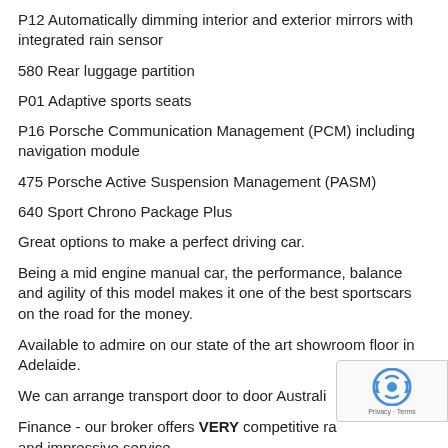P12 Automatically dimming interior and exterior mirrors with integrated rain sensor
580 Rear luggage partition
P01 Adaptive sports seats
P16 Porsche Communication Management (PCM) including navigation module
475 Porsche Active Suspension Management (PASM)
640 Sport Chrono Package Plus
Great options to make a perfect driving car.
Being a mid engine manual car, the performance, balance and agility of this model makes it one of the best sportscars on the road for the money.
Available to admire on our state of the art showroom floor in Adelaide.
We can arrange transport door to door Australi...
Finance - our broker offers VERY competitive ra... and impressive service.